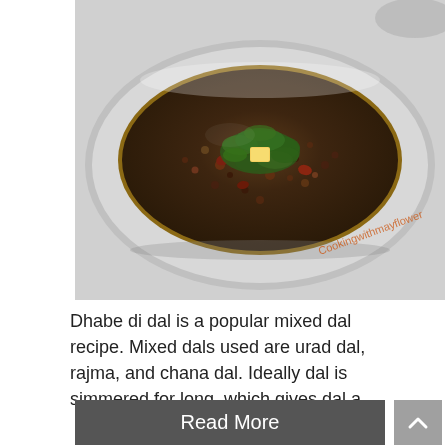[Figure (photo): A photograph of Dhabe di dal — a mixed lentil dish served in a silver/steel oval bowl, garnished with a pat of butter in the center and chopped fresh herbs (cilantro/coriander) on top. The dish appears dark brownish with visible lentils and kidney beans. A watermark in orange text reads 'Cookingwithmayflower' on the right side of the image.]
Dhabe di dal is a popular mixed dal recipe. Mixed dals used are urad dal, rajma, and chana dal. Ideally dal is simmered for long, which gives dal a ...
Read More